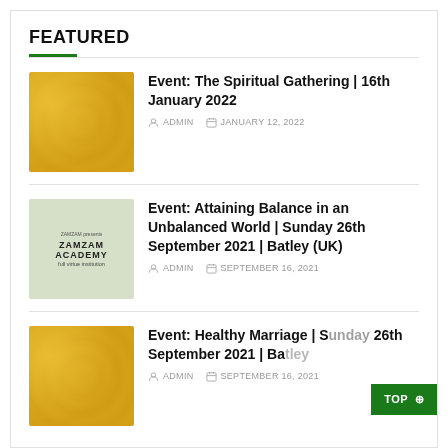FEATURED
Event: The Spiritual Gathering | 16th January 2022 — ADMIN, JANUARY 12, 2022
Event: Attaining Balance in an Unbalanced World | Sunday 26th September 2021 | Batley (UK) — ADMIN, SEPTEMBER 16, 2021
Event: Healthy Marriage | Sunday 26th September 2021 | Batley — ADMIN, SEPTEMBER 16, 2021